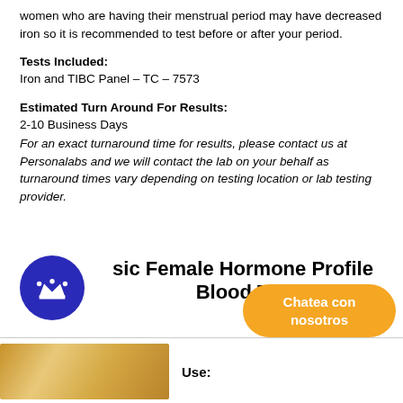women who are having their menstrual period may have decreased iron so it is recommended to test before or after your period.
Tests Included:
Iron and TIBC Panel – TC – 7573
Estimated Turn Around For Results:
2-10 Business Days
For an exact turnaround time for results, please contact us at Personalabs and we will contact the lab on your behalf as turnaround times vary depending on testing location or lab testing provider.
[Figure (logo): Blue circle with crown icon followed by title text 'Basic Female Hormone Profile Blood Test']
[Figure (photo): Close-up image of medical/lab items with warm golden tones]
Use: